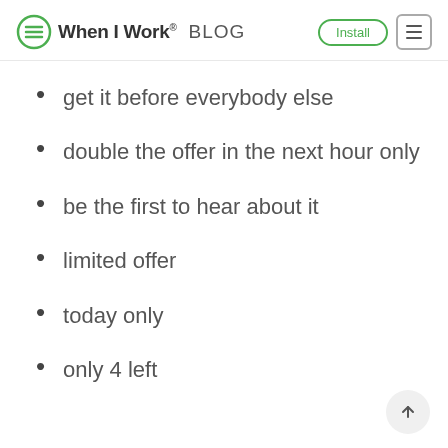When I Work BLOG
get it before everybody else
double the offer in the next hour only
be the first to hear about it
limited offer
today only
only 4 left